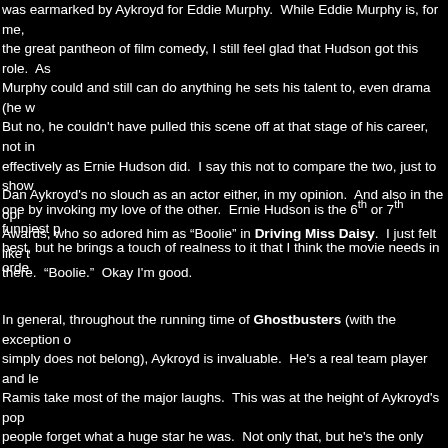was earmarked by Aykroyd for Eddie Murphy.  While Eddie Murphy is, for me, the great pantheon of film comedy, I still feel glad that Hudson got this role.  As Murphy could and still can do anything he sets his talent to, even drama (he w But no, he couldn't have pulled this scene off at that stage of his career, not in effectively as Ernie Hudson did.  I say this not to compare the two, just to show one by invoking my love of the other.  Ernie Hudson is the 6th or 7th funniest p best, but he brings a touch of realness to it that I think the movie needs in orde
Dan Aykroyd's no slouch as an actor either, in my opinion.  And also in the opi Awards, who so adored him as "Boolie" in Driving Miss Daisy.  I just felt like t there.  "Boolie."  Okay I'm good.
In general, throughout the running time of Ghostbusters (with the exception o simply does not belong), Aykroyd is invaluable.  He's a real team player and le Ramis take most of the major laughs.  This was at the height of Aykroyd's pop people forget what a huge star he was.  Not only that, but he's the only one of have pulled this scene off believably in the scope of their characters.  Murray v and Ramis would have come off too cartoony.  Aykroyd is just so obviously inv plays beautifully.